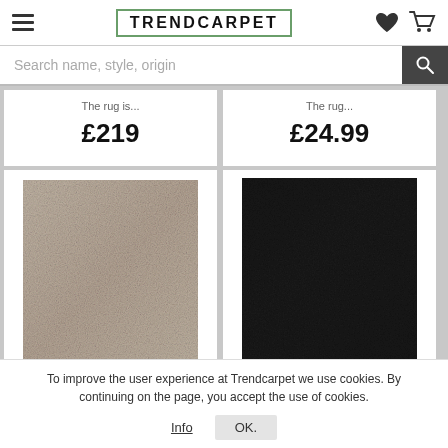TRENDCARPET
Search name, style, origin
The rug is...
£219
The rug...
£24.99
[Figure (photo): Taupe/beige textured rug product image]
[Figure (photo): Black textured rug product image]
To improve the user experience at Trendcarpet we use cookies. By continuing on the page, you accept the use of cookies.